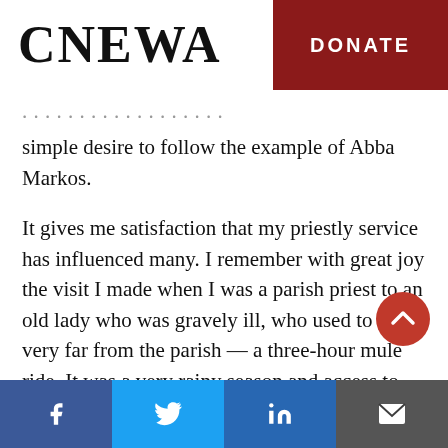CNEWA | DONATE
simple desire to follow the example of Abba Markos.
It gives me satisfaction that my priestly service has influenced many. I remember with great joy the visit I made when I was a parish priest to an old lady who was gravely ill, who used to live very far from the parish — a three-hour mule ride. It was a very rainy season and access to the village was very difficult. The village catechist and I covered most of the road on foot,
Facebook | Twitter | LinkedIn | Email